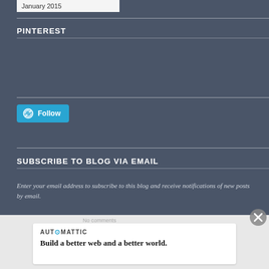January 2015
PINTEREST
[Figure (other): WordPress Follow button with Pinterest widget area]
SUBSCRIBE TO BLOG VIA EMAIL
Enter your email address to subscribe to this blog and receive notifications of new posts by email.
[Figure (other): Automattic advertisement: Build a better web and a better world.]